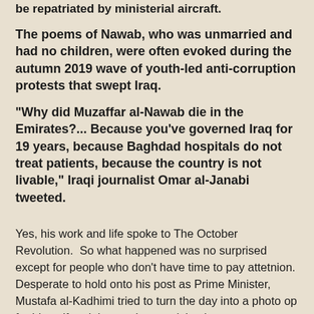be repatriated by ministerial aircraft.
The poems of Nawab, who was unmarried and had no children, were often evoked during the autumn 2019 wave of youth-led anti-corruption protests that swept Iraq.
"Why did Muzaffar al-Nawab die in the Emirates?... Because you've governed Iraq for 19 years, because Baghdad hospitals do not treat patients, because the country is not livable," Iraqi journalist Omar al-Janabi tweeted.
Yes, his work and life spoke to The October Revolution.  So what happened was no surprised except for people who don't have time to pay attetnion.  Desperate to hold onto his post as Prime Minister, Mustafa al-Kadhimi tried to turn the day into a photo op for himself and the youth weren't having